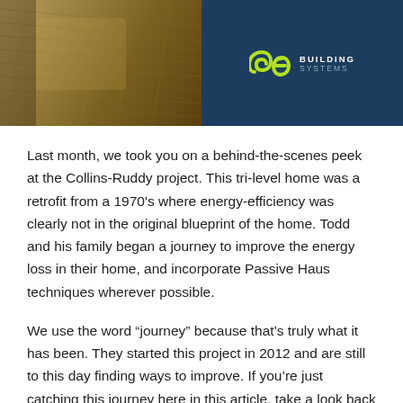[Figure (photo): Header image split in two halves: left side shows straw/hay ground material (construction site), right side shows the ae Building Systems logo on a dark navy blue background with yellow-green snake logo icon and text 'BUILDING SYSTEMS']
Last month, we took you on a behind-the-scenes peek at the Collins-Ruddy project. This tri-level home was a retrofit from a 1970's where energy-efficiency was clearly not in the original blueprint of the home. Todd and his family began a journey to improve the energy loss in their home, and incorporate Passive Haus techniques wherever possible.
We use the word “journey” because that’s truly what it has been. They started this project in 2012 and are still to this day finding ways to improve. If you’re just catching this journey here in this article, take a look back at the first half of this journey...